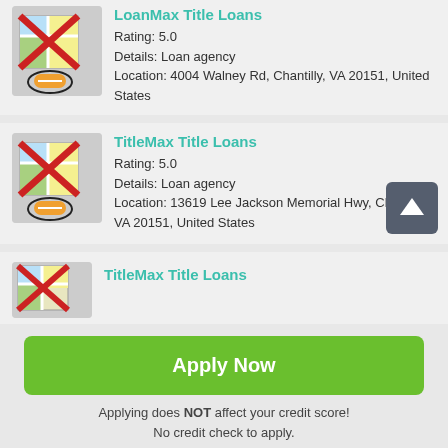[Figure (screenshot): Mobile app listing showing loan agencies with crossed-out map icons, ratings, details, locations, a scroll-to-top button, an Apply Now button, and a disclaimer.]
LoanMax Title Loans
Rating: 5.0
Details: Loan agency
Location: 4004 Walney Rd, Chantilly, VA 20151, United States
TitleMax Title Loans
Rating: 5.0
Details: Loan agency
Location: 13619 Lee Jackson Memorial Hwy, Chantilly, VA 20151, United States
TitleMax Title Loans
Apply Now
Applying does NOT affect your credit score! No credit check to apply.